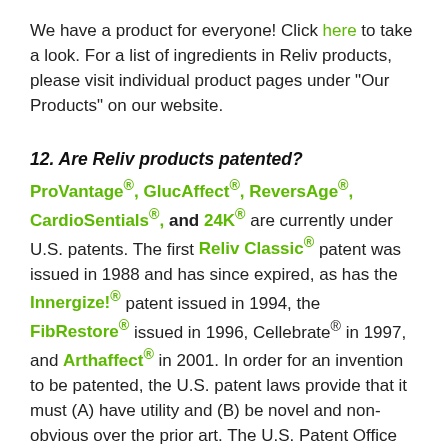We have a product for everyone! Click here to take a look. For a list of ingredients in Reliv products, please visit individual product pages under "Our Products" on our website.
12. Are Reliv products patented?
ProVantage®, GlucAffect®, ReversAge®, CardioSentials®, and 24K® are currently under U.S. patents. The first Reliv Classic® patent was issued in 1988 and has since expired, as has the Innergize!® patent issued in 1994, the FibRestore® issued in 1996, Cellebrate® in 1997, and Arthaffect® in 2001. In order for an invention to be patented, the U.S. patent laws provide that it must (A) have utility and (B) be novel and non-obvious over the prior art. The U.S. Patent Office substantively examines patent applications to ensure that patents are issued only for inventions